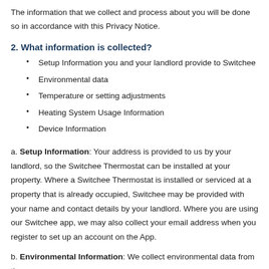The information that we collect and process about you will be done so in accordance with this Privacy Notice.
2. What information is collected?
Setup Information you and your landlord provide to Switchee
Environmental data
Temperature or setting adjustments
Heating System Usage Information
Device Information
a. Setup Information: Your address is provided to us by your landlord, so the Switchee Thermostat can be installed at your property. Where a Switchee Thermostat is installed or serviced at a property that is already occupied, Switchee may be provided with your name and contact details by your landlord. Where you are using our Switchee app, we may also collect your email address when you register to set up an account on the App.
b. Environmental Information: We collect environmental data from the